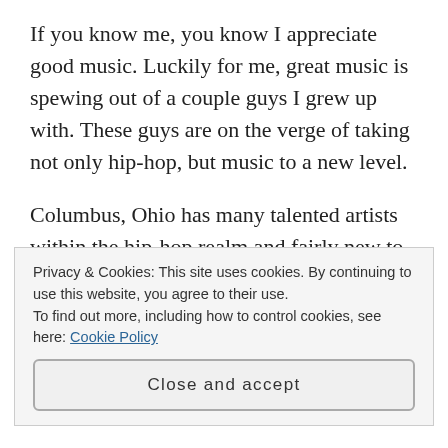If you know me, you know I appreciate good music. Luckily for me, great music is spewing out of a couple guys I grew up with. These guys are on the verge of taking not only hip-hop, but music to a new level.
Columbus, Ohio has many talented artists within the hip-hop realm and fairly new to the scene are Riggz and Madd Rich of the MOB. You probably have seen me mention them on my Nights With Nish: MOB Edition vlog talking about their mixtapes Words...
Privacy & Cookies: This site uses cookies. By continuing to use this website, you agree to their use.
To find out more, including how to control cookies, see here: Cookie Policy
Close and accept